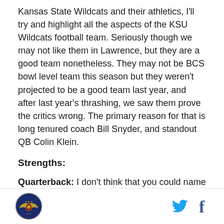Kansas State Wildcats and their athletics, I'll try and highlight all the aspects of the KSU Wildcats football team. Seriously though we may not like them in Lawrence, but they are a good team nonetheless. They may not be BCS bowl level team this season but they weren't projected to be a good team last year, and after last year's thrashing, we saw them prove the critics wrong. The primary reason for that is long tenured coach Bill Snyder, and standout QB Colin Klein.
Strengths:
Quarterback: I don't think that you could name any other team in all of college football that so heavily depended on their QB last season. Colin Klein
[logo] [twitter] [facebook]